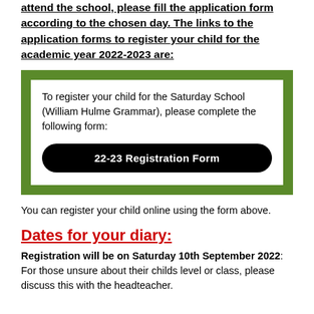attend the school, please fill the application form according to the chosen day. The links to the application forms to register your child for the academic year 2022-2023 are:
[Figure (infographic): Green bordered box containing registration information for Saturday School (William Hulme Grammar) with a black rounded button labeled '22-23 Registration Form']
You can register your child online using the form above.
Dates for your diary:
Registration will be on Saturday 10th September 2022: For those unsure about their childs level or class, please discuss this with the headteacher.